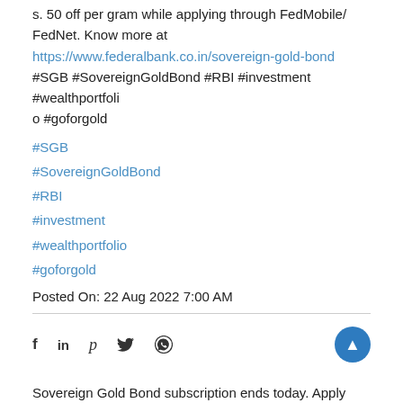s. 50 off per gram while applying through FedMobile/ FedNet. Know more at https://www.federalbank.co.in/sovereign-gold-bond #SGB #SovereignGoldBond #RBI #investment #wealthportfolio #goforgold
#SGB
#SovereignGoldBond
#RBI
#investment
#wealthportfolio
#goforgold
Posted On: 22 Aug 2022 7:00 AM
Sovereign Gold Bond subscription ends today. Apply soon via FedMobile/FedNet and get Rs.50 off per gram. Alternatively apply by visiting any of our branches. Know more @